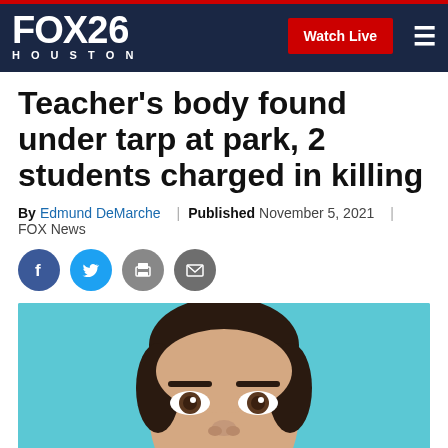FOX 26 HOUSTON — Watch Live
Teacher's body found under tarp at park, 2 students charged in killing
By Edmund DeMarche | Published November 5, 2021 | FOX News
[Figure (other): Social media sharing icons: Facebook, Twitter, Print, Email]
[Figure (photo): Close-up mug shot photo of a man with dark hair against a teal/blue background, showing forehead to chin area]